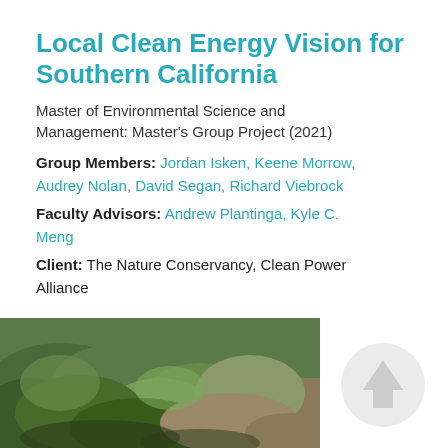Local Clean Energy Vision for Southern California
Master of Environmental Science and Management: Master's Group Project (2021)
Group Members: Jordan Isken, Keene Morrow, Audrey Nolan, David Segan, Richard Viebrock
Faculty Advisors: Andrew Plantinga, Kyle C. Meng
Client: The Nature Conservancy, Clean Power Alliance
[Figure (photo): Aerial photograph of green vegetated hillside landscape in Southern California]
[Figure (logo): Light gray circular logo/icon in bottom right corner]